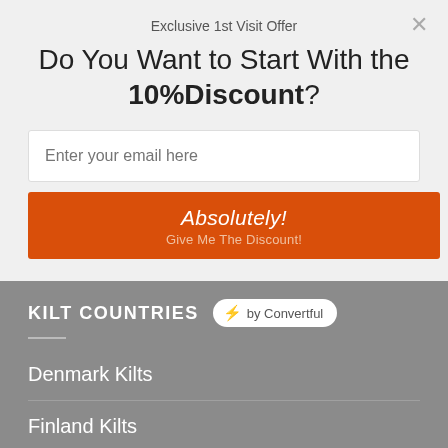Exclusive 1st Visit Offer
Do You Want to Start With the 10%Discount?
Enter your email here
Absolutely! Give Me The Discount!
KILT COUNTRIES
⚡ by Convertful
Denmark Kilts
Finland Kilts
France Kilts
Germany Kilts